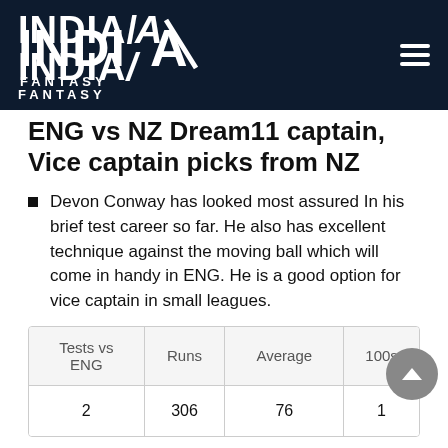INDIA FANTASY
ENG vs NZ Dream11 captain, Vice captain picks from NZ
Devon Conway has looked most assured In his brief test career so far. He also has excellent technique against the moving ball which will come in handy in ENG. He is a good option for vice captain in small leagues.
| Tests vs ENG | Runs | Average | 100s |
| --- | --- | --- | --- |
| 2 | 306 | 76 | 1 |
Kyle Jamieson is another solid option for vice captain in grand leagues. He can contribute with both bat and ball and has very good record in English conditions.